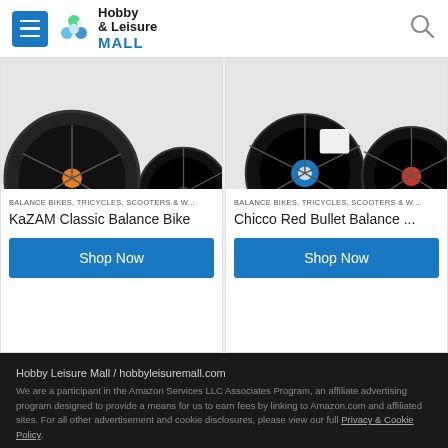Hobby Leisure Mall
[Figure (photo): Product image of KaZAM Classic Balance Bike showing wheels]
BALANCE BIKES, TRICYCLES, SCOOTERS & W...
KaZAM Classic Balance Bike
[Figure (photo): Product image of Chicco Red Bullet Balance Bike showing wheels]
BALANCE BIKES, TRICYCLES, SCOOTERS & W...
Chicco Red Bullet Balance ...
Hobby Leisure Mall / hobbyleisuremall.com
We are a participant in the Amazon Services LLC Associates Program, an affiliate advertising program designed to provide a means for us to earn fees by linking to Amazon.com and affiliated sites. For all other advertisement and cookie disclosures, please view our full Privacy & Cookie Policy.